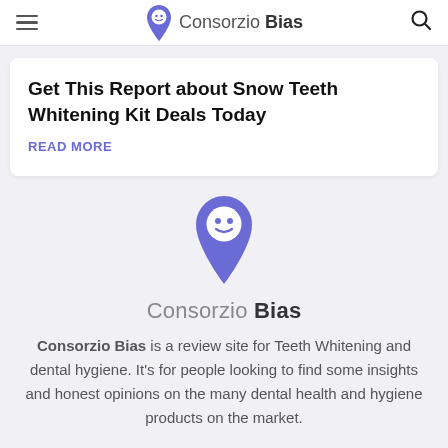Consorzio Bias
Get This Report about Snow Teeth Whitening Kit Deals Today
READ MORE
[Figure (logo): Consorzio Bias map pin logo (purple location pin with smiley face)]
Consorzio Bias
Consorzio Bias is a review site for Teeth Whitening and dental hygiene. It's for people looking to find some insights and honest opinions on the many dental health and hygiene products on the market.
Home